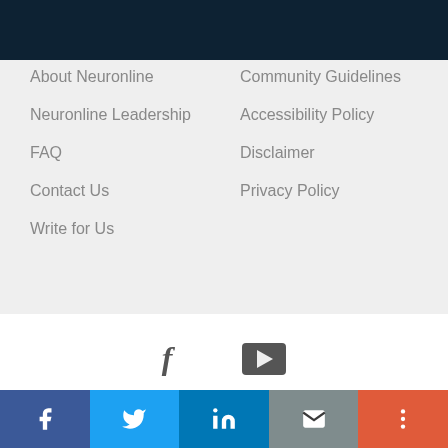About Neuronline
Neuronline Leadership
FAQ
Contact Us
Write for Us
Community Guidelines
Accessibility Policy
Disclaimer
Privacy Policy
[Figure (illustration): Facebook and YouTube social media icons]
1121 14th Street NW, Suite 1010, Washington, DC 20005   (202) 692-4000
4 of 5 articles left
Login or Become a Member to unlock content